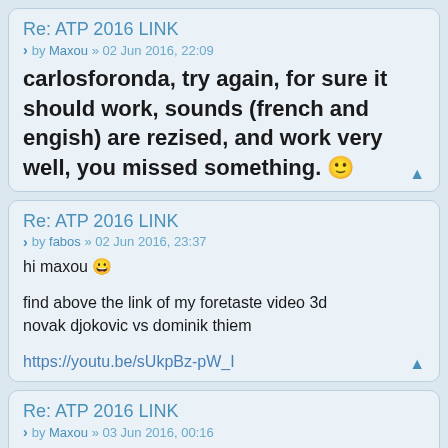Re: ATP 2016 LINK
by Maxou » 02 Jun 2016, 22:09
carlosforonda, try again, for sure it should work, sounds (french and engish) are rezised, and work very well, you missed something. 🙂
Re: ATP 2016 LINK
by fabos » 02 Jun 2016, 23:37
hi maxou 😀

find above the link of my foretaste video 3d
novak djokovic vs dominik thiem

https://youtu.be/sUkpBz-pW_I
Re: ATP 2016 LINK
by Maxou » 03 Jun 2016, 00:16